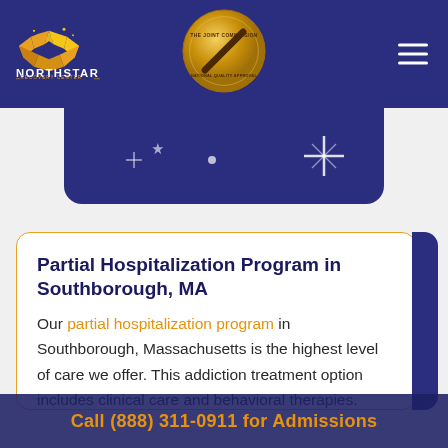[Figure (logo): Northstar Recovery Center logo with gold star on dark blue navigation bar, and Joint Commission gold seal badge in center]
[Figure (illustration): Dark blue decorative banner below header with star/sparkle decorative elements]
Partial Hospitalization Program in Southborough, MA
Our partial hospitalization program in Southborough, Massachusetts is the highest level of care we offer. This addiction treatment option includes clinical care and behavioral therapies. During the early days of recovery
Call (888) 311-0911 for Admissions